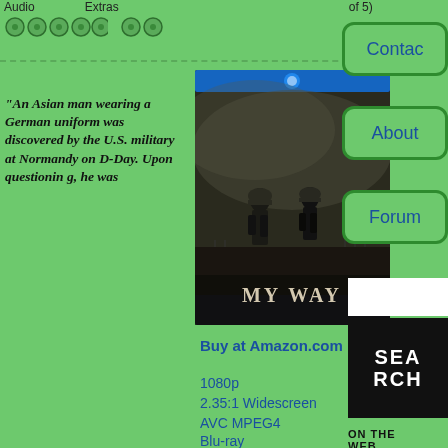Audio    Extras    (of 5)
[Figure (illustration): Blu-ray disc rating icons: 4 green discs for Audio, 2 green discs for Extras]
[Figure (photo): Blu-ray cover of 'My Way' showing two soldiers walking away from camera in a war-torn landscape, with blue Blu-ray case design]
Buy at Amazon.com
“An Asian man wearing a German uniform was discovered by the U.S. military at Normandy on D-Day. Upon questioning, he was...
1080p
2.35:1 Widescreen
AVC MPEG4
Blu-ray
Disc Reviews
Contact
About
Forum
SEARCH
ON THE WEB